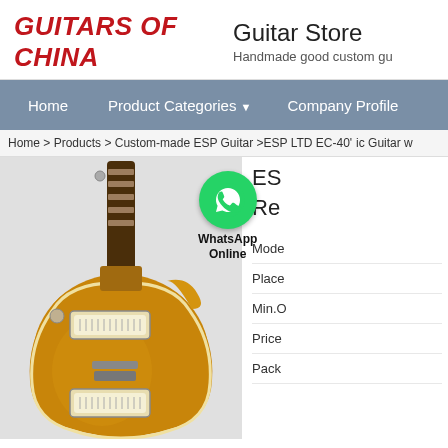[Figure (logo): Guitars of China logo in red italic bold text]
Guitar Store
Handmade good custom gu
Home   Product Categories ▾   Company Profile
Home > Products > Custom-made ESP Guitar >ESP LTD EC-40' ic Guitar w
[Figure (photo): Gold/amber finish electric guitar resembling a Les Paul style, with two humbucker pickups, dark rosewood fretboard, shown from the front against a light grey background]
[Figure (logo): WhatsApp green circle icon with phone handset, labeled WhatsApp Online]
ES
Re
Mode
Place
Min.O
Price
Pack